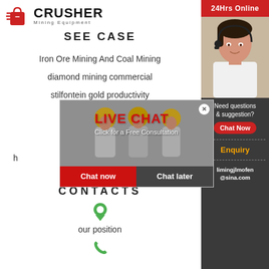[Figure (logo): Crusher Mining Equipment logo with red shopping bag icon and bold CRUSHER text]
SEE CASE
Iron Ore Mining And Coal Mining
diamond mining commercial
stilfontein gold productivity
[Figure (screenshot): Live chat popup overlay with construction workers photo, LIVE CHAT text in red, Click for a Free Consultation, Chat now and Chat later buttons]
CONTACTS
[Figure (illustration): Green map pin icon]
our position
[Figure (illustration): Green phone icon]
[Figure (infographic): Right sidebar with 24Hrs Online header, customer service representative photo, Need questions & suggestion? text, Chat Now button, Enquiry link, limingjlmofen@sina.com email]